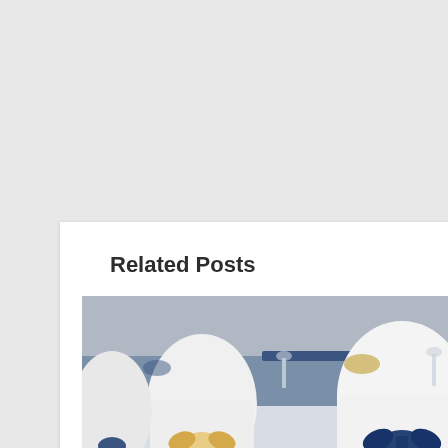Related Posts
[Figure (photo): Wedding banquet chairs with white covers and decorative bows — navy blue and gold/champagne sashes tied around chair backs, set in a reception hall with blue table linens and glassware in the background.]
HOW TO STIFFEN